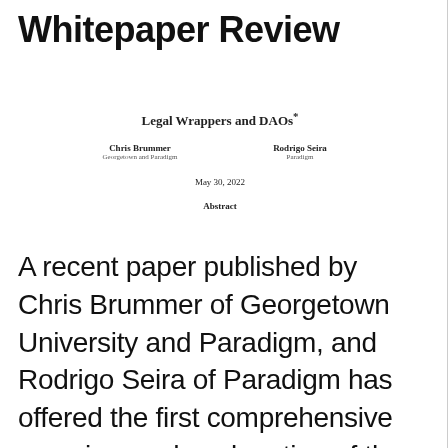Whitepaper Review
Legal Wrappers and DAOs*
Chris Brummer
Georgetown and Paradigm
Rodrigo Seira
Paradigm
May 30, 2022
Abstract
A recent paper published by Chris Brummer of Georgetown University and Paradigm, and Rodrigo Seira of Paradigm has offered the first comprehensive overview and explanation of the legal wrappers that are available to Decentralised